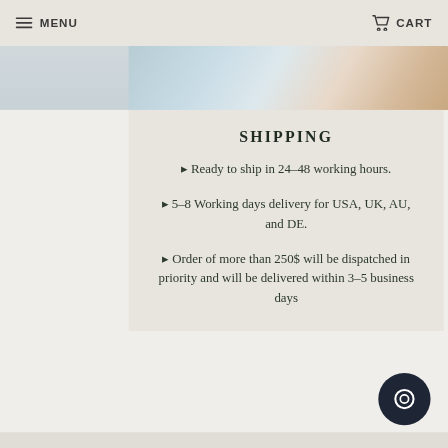MENU   CART
[Figure (photo): Partial photo of a person possibly in medical/lab setting with blue gloves visible, cropped at top]
SHIPPING
▸ Ready to ship in 24-48 working hours.
▸ 5-8 Working days delivery for USA, UK, AU, and DE.
▸ Order of more than 250$ will be dispatched in priority and will be delivered within 3-5 business days